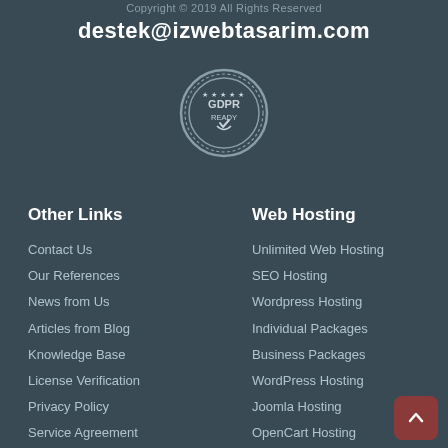Copyright © 2019 All Rights Reserved
destek@izwebtasarim.com
[Figure (logo): GDPR Ready certification badge/seal with circular border and checkmark]
Other Links
Contact Us
Our References
News from Us
Articles from Blog
Knowledge Base
License Verification
Privacy Policy
Service Agreement
Web Hosting
Unlimited Web Hosting
SEO Hosting
Wordpress Hosting
Individual Packages
Business Packages
WordPress Hosting
Joomla Hosting
OpenCart Hosting